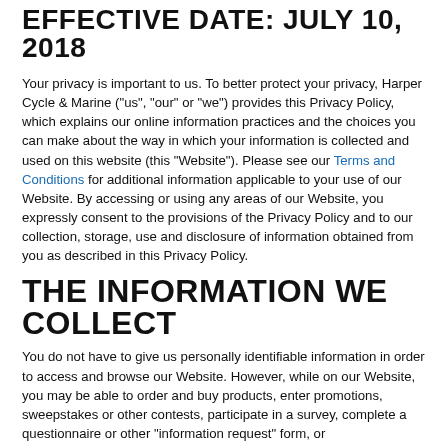EFFECTIVE DATE: JULY 10, 2018
Your privacy is important to us. To better protect your privacy, Harper Cycle & Marine ("us", "our" or "we") provides this Privacy Policy, which explains our online information practices and the choices you can make about the way in which your information is collected and used on this website (this "Website"). Please see our Terms and Conditions for additional information applicable to your use of our Website. By accessing or using any areas of our Website, you expressly consent to the provisions of the Privacy Policy and to our collection, storage, use and disclosure of information obtained from you as described in this Privacy Policy.
THE INFORMATION WE COLLECT
You do not have to give us personally identifiable information in order to access and browse our Website. However, while on our Website, you may be able to order and buy products, enter promotions, sweepstakes or other contests, participate in a survey, complete a questionnaire or other "information request" form, or